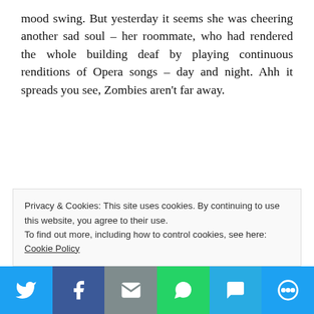mood swing. But yesterday it seems she was cheering another sad soul – her roommate, who had rendered the whole building deaf by playing continuous renditions of Opera songs – day and night. Ahh it spreads you see, Zombies aren't far away.
Privacy & Cookies: This site uses cookies. By continuing to use this website, you agree to their use.
To find out more, including how to control cookies, see here: Cookie Policy